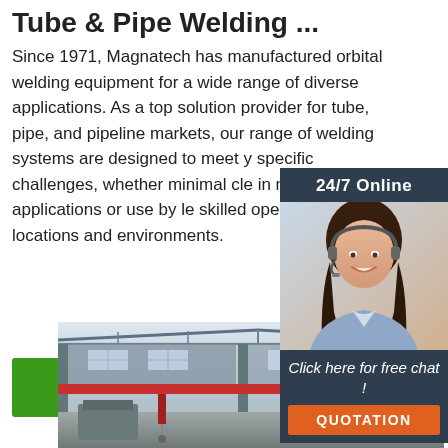Tube & Pipe Welding ...
Since 1971, Magnatech has manufactured orbital welding equipment for a wide range of diverse applications. As a top solution provider for tube, pipe, and pipeline markets, our range of welding systems are designed to meet y specific challenges, whether minimal cle in maintenance applications or use by le skilled operators in remote locations and environments.
[Figure (photo): Customer service representative with headset, 24/7 Online chat widget with dark blue background, 'Click here for free chat!' text and orange QUOTATION button]
[Figure (photo): Interior of an industrial manufacturing facility/factory with overhead crane and steel structure]
Get Price